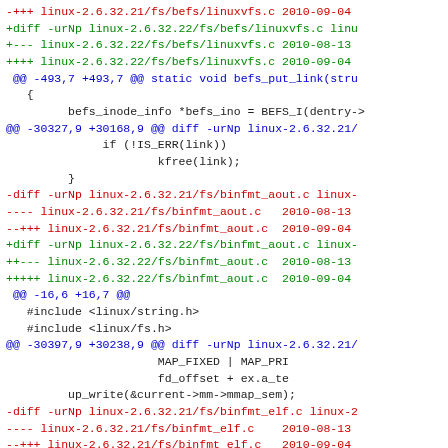Diff/patch code snippet showing Linux kernel file differences between versions 2.6.32.21 and 2.6.32.22 for befs/linuxvfs.c, binfmt_aout.c, and binfmt_elf.c